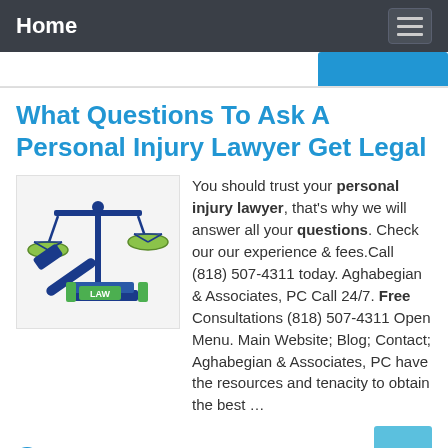Home
What Questions To Ask A Personal Injury Lawyer Get Legal
[Figure (illustration): Illustration of a scales of justice icon and a gavel on law books with 'LAW' label, in blue and green colors on a light gray background]
You should trust your personal injury lawyer, that's why we will answer all your questions. Check our our experience & fees.Call (818) 507-4311 today. Aghabegian & Associates, PC Call 24/7. Free Consultations (818) 507-4311 Open Menu. Main Website; Blog; Contact; Aghabegian & Associates, PC have the resources and tenacity to obtain the best …
Preview
Posted in: Contact Lawyer, Trust Law